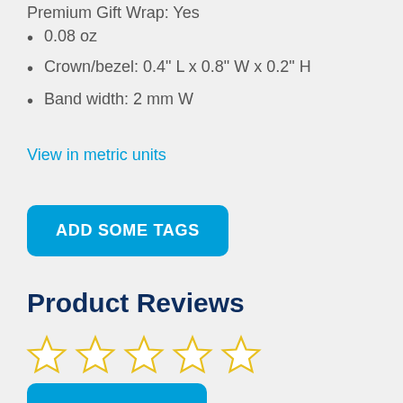0.08 oz
Crown/bezel: 0.4" L x 0.8" W x 0.2" H
Band width: 2 mm W
View in metric units
ADD SOME TAGS
Product Reviews
[Figure (other): Five empty star rating icons in yellow/gold outline style]